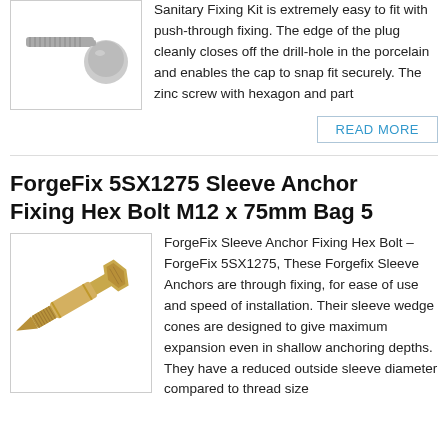[Figure (photo): Sanitary fixing kit plug with screw, grey cap shown against white background]
Sanitary Fixing Kit is extremely easy to fit with push-through fixing. The edge of the plug cleanly closes off the drill-hole in the porcelain and enables the cap to snap fit securely. The zinc screw with hexagon and part
READ MORE
ForgeFix 5SX1275 Sleeve Anchor Fixing Hex Bolt M12 x 75mm Bag 5
[Figure (photo): ForgeFix sleeve anchor hex bolt M12 x 75mm, gold/bronze coloured bolt with sleeve, shown diagonally on white background]
ForgeFix Sleeve Anchor Fixing Hex Bolt – ForgeFix 5SX1275, These Forgefix Sleeve Anchors are through fixing, for ease of use and speed of installation. Their sleeve wedge cones are designed to give maximum expansion even in shallow anchoring depths. They have a reduced outside sleeve diameter compared to thread size